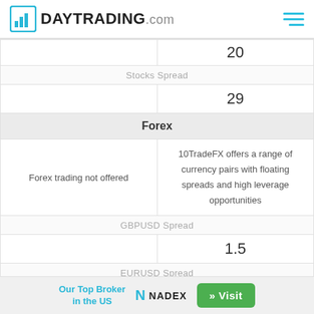DAYTRADING.com
|  | 20 |
| Stocks Spread | 29 |
| Forex |  |
| Forex trading not offered | 10TradeFX offers a range of currency pairs with floating spreads and high leverage opportunities |
| GBPUSD Spread | 1.5 |
| EURUSD Spread | 1.5 |
Our Top Broker in the US  NADEX  » Visit